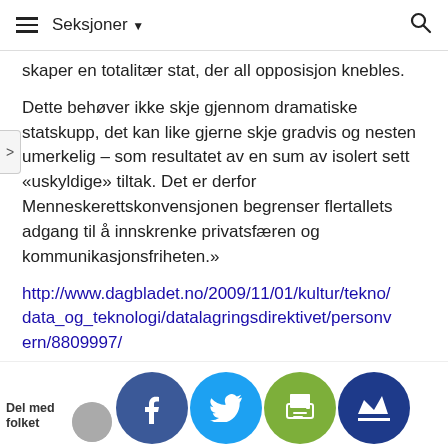Seksjoner
skaper en totalitær stat, der all opposisjon knebles.
Dette behøver ikke skje gjennom dramatiske statskupp, det kan like gjerne skje gradvis og nesten umerkelig – som resultatet av en sum av isolert sett «uskyldige» tiltak. Det er derfor Menneskerettskonvensjonen begrenser flertallets adgang til å innskrenke privatsfæren og kommunikasjonsfriheten.»
http://www.dagbladet.no/2009/11/01/kultur/tekno/data_og_teknologi/datalagringsdirektivet/personvern/8809997/
0
Svar
12 år siden
Del med folket